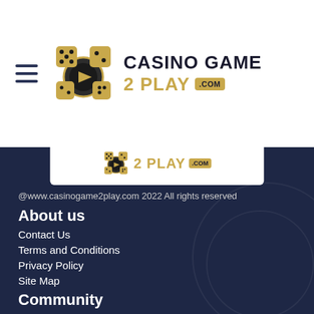[Figure (logo): Casino Game 2 Play .com logo with dice and poker chip icon, black and gold text on white background]
[Figure (logo): Small Casino Game 2 Play .com logo banner on dark background footer]
@www.casinogame2play.com 2022 All rights reserved
About us
Contact Us
Terms and Conditions
Privacy Policy
Site Map
Community
Facebook
Twitter